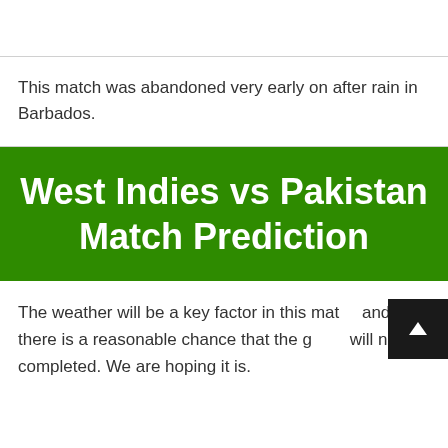This match was abandoned very early on after rain in Barbados.
West Indies vs Pakistan Match Prediction
The weather will be a key factor in this match and there is a reasonable chance that the game will not be completed. We are hoping it is.